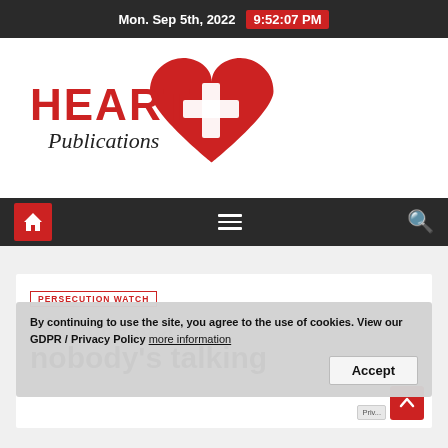Mon. Sep 5th, 2022  9:52:07 PM
[Figure (logo): Heart Publications logo — red bold 'HEART' text with italic 'Publications' script beneath, next to a large red heart with a white cross inside]
[Figure (other): Navigation bar with red home icon button on left, hamburger menu in center, search icon on right, all on dark background]
PERSECUTION WATCH
By continuing to use the site, you agree to the use of cookies. View our GDPR / Privacy Policy more information
The massacres nobody's talking